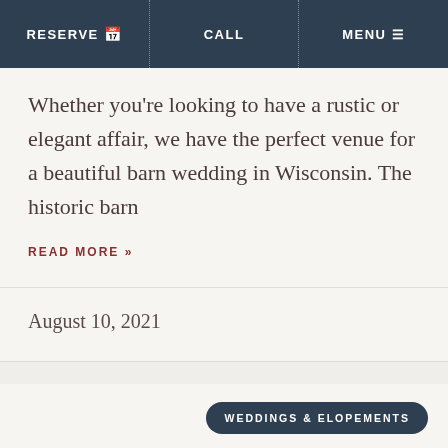RESERVE  CALL  MENU
Whether you’re looking to have a rustic or elegant affair, we have the perfect venue for a beautiful barn wedding in Wisconsin. The historic barn
READ MORE »
August 10, 2021
WEDDINGS & ELOPEMENTS